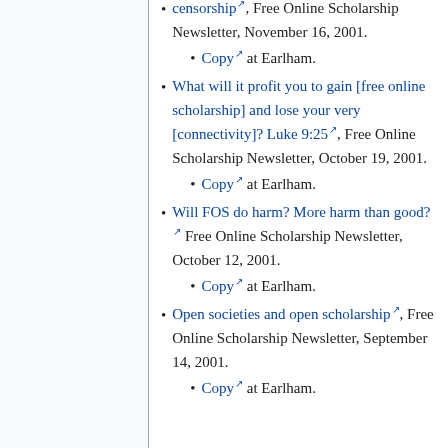censorship, Free Online Scholarship Newsletter, November 16, 2001.
Copy at Earlham.
What will it profit you to gain [free online scholarship] and lose your very [connectivity]? Luke 9:25, Free Online Scholarship Newsletter, October 19, 2001.
Copy at Earlham.
Will FOS do harm? More harm than good? Free Online Scholarship Newsletter, October 12, 2001.
Copy at Earlham.
Open societies and open scholarship, Free Online Scholarship Newsletter, September 14, 2001.
Copy at Earlham.